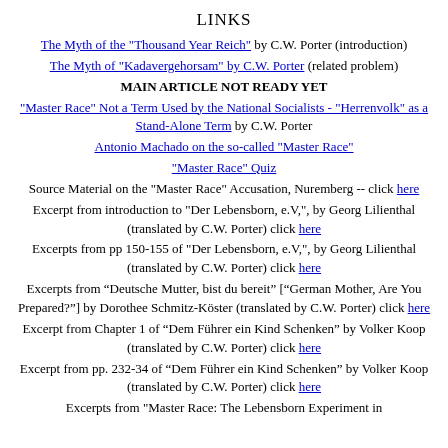LINKS
The Myth of the "Thousand Year Reich" by C.W. Porter (introduction)
The Myth of "Kadavergehorsam" by C.W. Porter (related problem)
MAIN ARTICLE NOT READY YET
"Master Race" Not a Term Used by the National Socialists - "Herrenvolk" as a Stand-Alone Term by C.W. Porter
Antonio Machado on the so-called "Master Race"
"Master Race" Quiz
Source Material on the "Master Race" Accusation, Nuremberg -- click here
Excerpt from introduction to "Der Lebensborn, e.V,", by Georg Lilienthal (translated by C.W. Porter) click here
Excerpts from pp 150-155 of "Der Lebensborn, e.V,", by Georg Lilienthal (translated by C.W. Porter) click here
Excerpts from “Deutsche Mutter, bist du bereit” [“German Mother, Are You Prepared?”] by Dorothee Schmitz-Köster (translated by C.W. Porter) click here
Excerpt from Chapter 1 of “Dem Führer ein Kind Schenken” by Volker Koop (translated by C.W. Porter) click here
Excerpt from pp. 232-34 of “Dem Führer ein Kind Schenken” by Volker Koop (translated by C.W. Porter) click here
Excerpts from "Master Race: The Lebensborn Experiment in